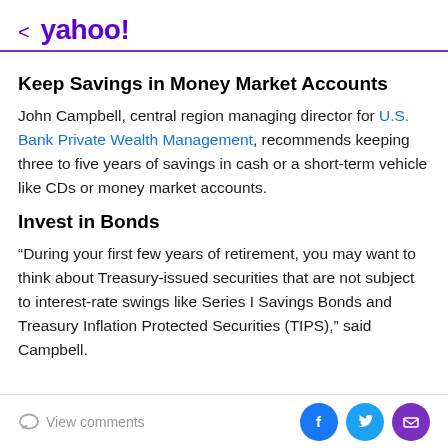< yahoo!
Keep Savings in Money Market Accounts
John Campbell, central region managing director for U.S. Bank Private Wealth Management, recommends keeping three to five years of savings in cash or a short-term vehicle like CDs or money market accounts.
Invest in Bonds
“During your first few years of retirement, you may want to think about Treasury-issued securities that are not subject to interest-rate swings like Series I Savings Bonds and Treasury Inflation Protected Securities (TIPS),” said Campbell.
View comments